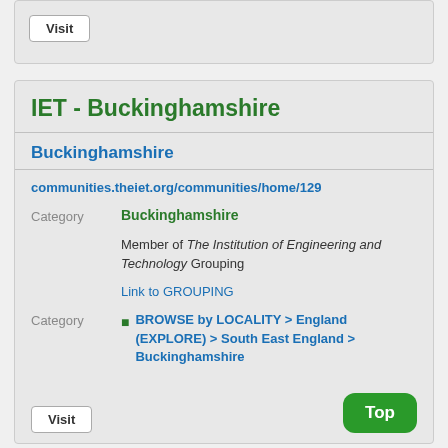Visit
IET - Buckinghamshire
Buckinghamshire
communities.theiet.org/communities/home/129
Category
Buckinghamshire
Member of The Institution of Engineering and Technology Grouping
Link to GROUPING
Category
BROWSE by LOCALITY > England (EXPLORE) > South East England > Buckinghamshire
Visit
Top